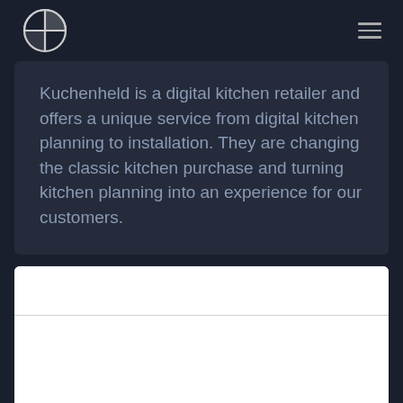Kuchenheld logo and navigation menu
Kuchenheld is a digital kitchen retailer and offers a unique service from digital kitchen planning to installation. They are changing the classic kitchen purchase and turning kitchen planning into an experience for our customers.
[Figure (other): A form or input box with two fields separated by a horizontal line, white background with rounded corners]